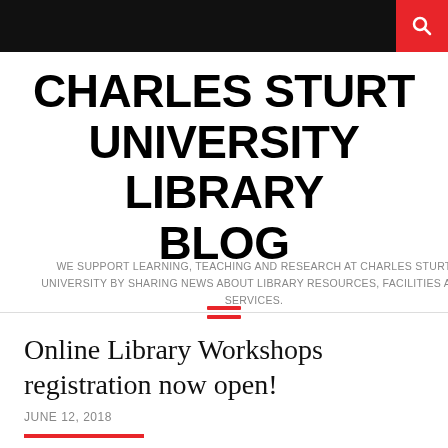Charles Sturt University Library Blog
CHARLES STURT UNIVERSITY LIBRARY BLOG
WE SUPPORT LEARNING, TEACHING AND RESEARCH AT CHARLES STURT UNIVERSITY BY SHARING NEWS ABOUT LIBRARY RESOURCES, FACILITIES AND SERVICES.
Online Library Workshops registration now open!
JUNE 12, 2018